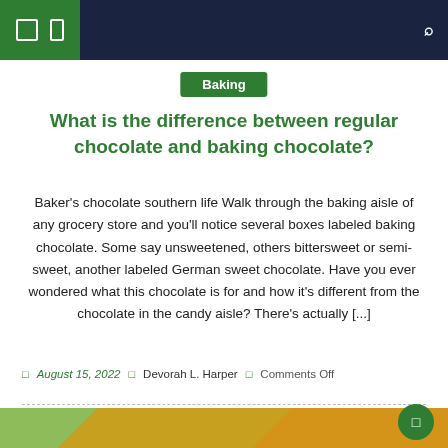Navigation bar with menu icons and search
Baking
What is the difference between regular chocolate and baking chocolate?
Baker's chocolate southern life Walk through the baking aisle of any grocery store and you'll notice several boxes labeled baking chocolate. Some say unsweetened, others bittersweet or semi-sweet, another labeled German sweet chocolate. Have you ever wondered what this chocolate is for and how it's different from the chocolate in the candy aisle? There's actually [...]
August 15, 2022  Devorah L. Harper  Comments Off
[Figure (photo): Bottom portion of a food photograph showing dishes with vegetables and food items on a yellow/golden background, with a Good Wheat pasta box visible]